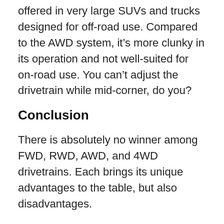offered in very large SUVs and trucks designed for off-road use. Compared to the AWD system, it's more clunky in its operation and not well-suited for on-road use. You can't adjust the drivetrain while mid-corner, do you?
Conclusion
There is absolutely no winner among FWD, RWD, AWD, and 4WD drivetrains. Each brings its unique advantages to the table, but also disadvantages.
There might be a winner for you, though. By choosing a drivetrain type that suits your